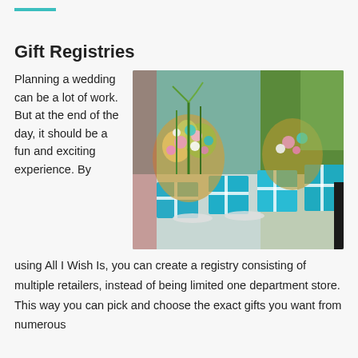Gift Registries
Planning a wedding can be a lot of work. But at the end of the day, it should be a fun and exciting experience. By using All I Wish Is, you can create a registry consisting of multiple retailers, instead of being limited one department store. This way you can pick and choose the exact gifts you want from numerous
[Figure (photo): A wedding table decorated with blue gift boxes and floral centerpieces with teal and pink flowers.]